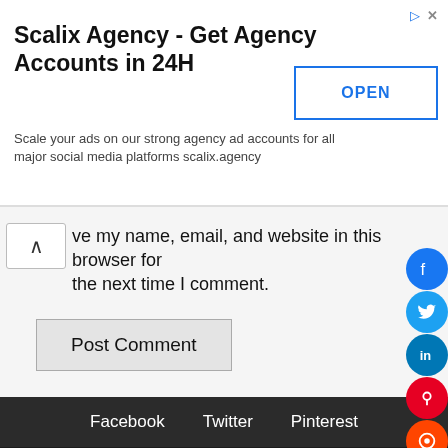[Figure (screenshot): Advertisement banner for Scalix Agency with OPEN button]
ve my name, email, and website in this browser for the next time I comment.
Post Comment
Facebook   Twitter   Pinterest
[Figure (infographic): Social media share buttons on right sidebar: Facebook, Twitter, LinkedIn, Pinterest, Reddit, WhatsApp, Email, More, Navigation]